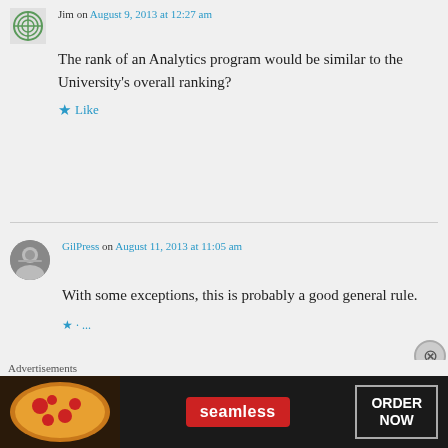Jim on August 9, 2013 at 12:27 am
The rank of an Analytics program would be similar to the University's overall ranking?
Like
GilPress on August 11, 2013 at 11:05 am
With some exceptions, this is probably a good general rule.
Advertisements
[Figure (illustration): Seamless food delivery advertisement banner showing pizza and ORDER NOW button]